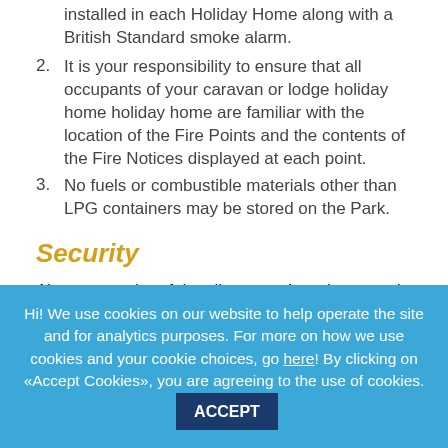installed in each Holiday Home along with a British Standard smoke alarm.
2. It is your responsibility to ensure that all occupants of your caravan or lodge holiday home holiday home are familiar with the location of the Fire Points and the contents of the Fire Notices displayed at each point.
3. No fuels or combustible materials other than LPG containers may be stored on the Park.
Security
Alarms must be of the silent, monitored type and audible alarms are not permitted.
Hi! We use cookies on our website to help operate the site and for analytics purposes. For more on how we use cookies and your cookie choices, go here! By clicking on «Accept Cookies», you are agreeing to the use of cookies. ACCEPT